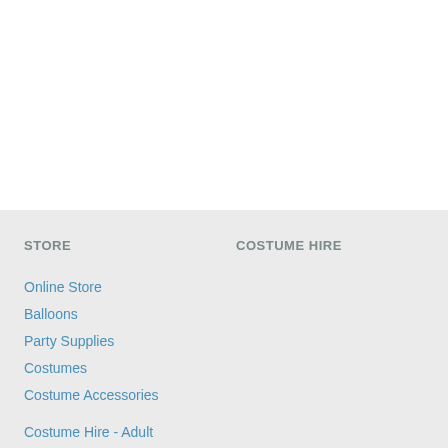STORE
COSTUME HIRE
Online Store
Balloons
Party Supplies
Costumes
Costume Accessories
Costume Hire - Adult
Costume Hire - Child
Mascot Costume Product Information